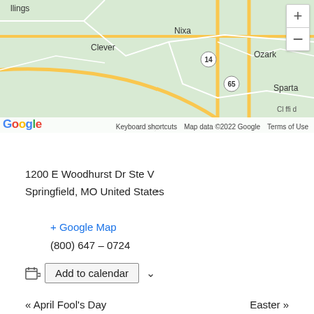[Figure (map): Google Map screenshot showing area around Springfield, MO with towns including Clever, Nixa, Ozark, Sparta visible. Roads shown with yellow/white lines on green background. Map controls with zoom + and – buttons visible in upper right.]
Osborn Insurance Group
1200 E Woodhurst Dr Ste V
Springfield, MO United States
+ Google Map
(800) 647 – 0724
Add to calendar
« April Fool's Day
Easter »